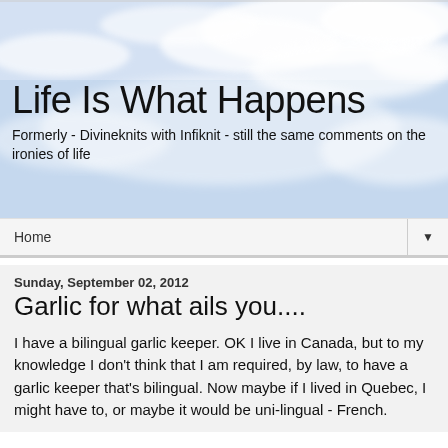[Figure (photo): Sky with clouds background image used as blog header]
Life Is What Happens
Formerly - Divineknits with Infiknit - still the same comments on the ironies of life
Home ▼
Sunday, September 02, 2012
Garlic for what ails you....
I have a bilingual garlic keeper. OK I live in Canada, but to my knowledge I don't think that I am required, by law, to have a garlic keeper that's bilingual. Now maybe if I lived in Quebec, I might have to, or maybe it would be uni-lingual - French.